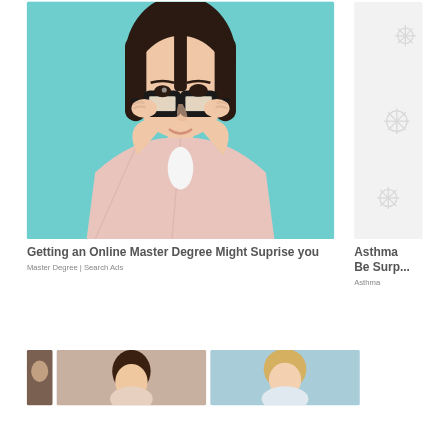[Figure (photo): Young woman wearing black-framed glasses against a teal background, dressed in a pink plaid blazer, peering over her glasses with a slight smile.]
Getting an Online Master Degree Might Suprise you
Master Degree | Search Ads
[Figure (photo): Partially visible image on the right side showing a light grey/white background with snowflake or virus-like illustrated patterns.]
Asthma... Be Surp...
Asthma
[Figure (photo): Bottom left: partially visible dark-haired woman portrait.]
[Figure (photo): Bottom center: partially visible brunette woman portrait against neutral background.]
[Figure (photo): Bottom right: partially visible blonde woman portrait against light blue background.]